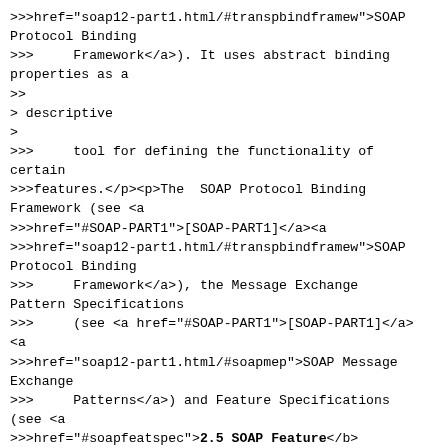>>>href="soap12-part1.html/#transpbindframew">SOAP Protocol Binding
>>>     Framework</a>). It uses abstract binding properties as a
>>
> descriptive
>
>>>     tool for defining the functionality of certain
>>>features.</p><p>The  SOAP Protocol Binding Framework (see <a
>>>href="#SOAP-PART1">[SOAP-PART1]</a><a
>>>href="soap12-part1.html/#transpbindframew">SOAP Protocol Binding
>>>     Framework</a>), the Message Exchange Pattern Specifications
>>>     (see <a href="#SOAP-PART1">[SOAP-PART1]</a> <a
>>>href="soap12-part1.html/#soapmep">SOAP Message Exchange
>>>     Patterns</a>) and Feature Specifications (see <a
>>>href="#soapfeatspec"><b>2.5 SOAP Feature</b></a>) each describe the
>>>properties they expect to be
>>>     present in a message exchange context when control of that context
>>>     passes between a local SOAP node and a
binding